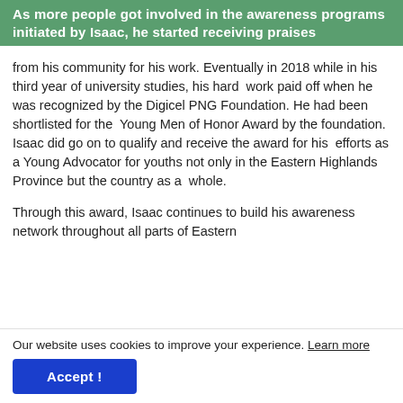As more people got involved in the awareness programs initiated by Isaac, he started receiving praises
from his community for his work. Eventually in 2018 while in his third year of university studies, his hard work paid off when he was recognized by the Digicel PNG Foundation. He had been shortlisted for the Young Men of Honor Award by the foundation. Isaac did go on to qualify and receive the award for his efforts as a Young Advocator for youths not only in the Eastern Highlands Province but the country as a whole.
Through this award, Isaac continues to build his awareness network throughout all parts of Eastern
Our website uses cookies to improve your experience. Learn more
Accept !